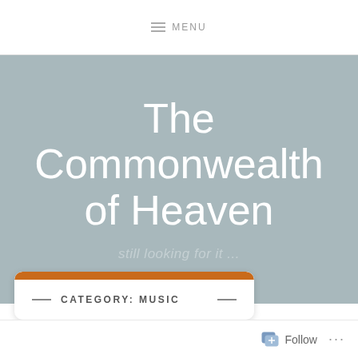MENU
The Commonwealth of Heaven
still looking for it ...
CATEGORY: MUSIC
Follow ...